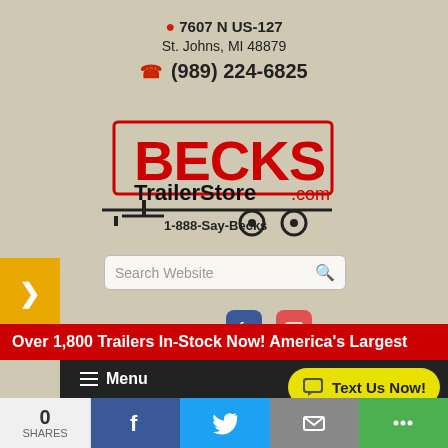📍 7607 N US-127
St. Johns, MI 48879
📞 (989) 224-6825
[Figure (logo): Becks TrailerStore.com logo with trailer graphic and text '1-888-Say-Becks']
Search Website
CONNECT:
Over 1,800 Trailers In-Stock Now! America's Largest
Menu
Text Us Now!
0 SHARES